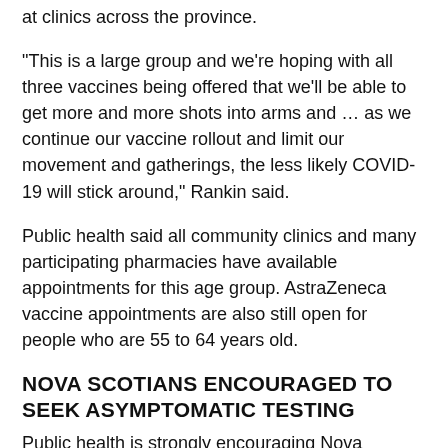at clinics across the province.
"This is a large group and we're hoping with all three vaccines being offered that we'll be able to get more and more shots into arms and … as we continue our vaccine rollout and limit our movement and gatherings, the less likely COVID-19 will stick around," Rankin said.
Public health said all community clinics and many participating pharmacies have available appointments for this age group. AstraZeneca vaccine appointments are also still open for people who are 55 to 64 years old.
NOVA SCOTIANS ENCOURAGED TO SEEK ASYMPTOMATIC TESTING
Public health is strongly encouraging Nova Scotians to seek asymptomatic COVID-19 testing, particularly if they have had several social interactions, even with their own social circle.